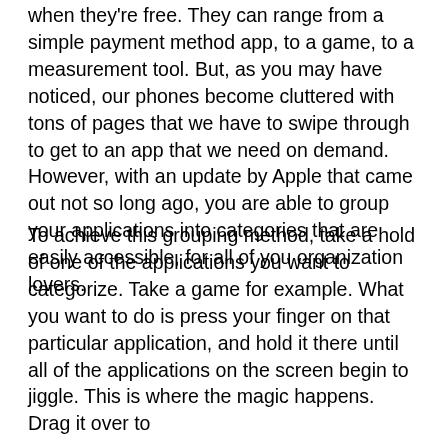when they're free. They can range from a simple payment method app, to a game, to a measurement tool. But, as you may have noticed, our phones become cluttered with tons of pages that we have to swipe through to get to an app that we need on demand. However, with an update by Apple that came out not so long ago, you are able to group your applications into categories that are easily accessible, for all of you organization lovers.
To achieve this grouping method, take a hold of one of the applications you want to categorize. Take a game for example. What you want to do is press your finger on that particular application, and hold it there until all of the applications on the screen begin to jiggle. This is where the magic happens. Drag it over to